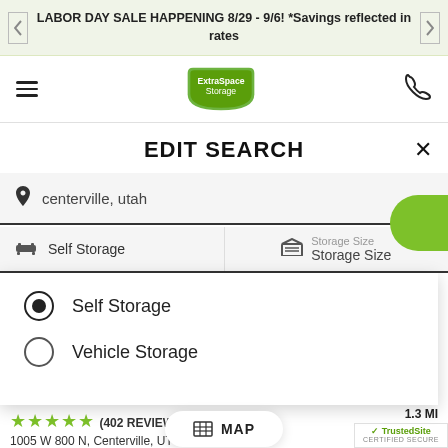LABOR DAY SALE HAPPENING 8/29 - 9/6! *Savings reflected in rates
[Figure (logo): Extra Space Storage green logo with navigation hamburger menu and phone icon]
EDIT SEARCH
centerville, utah
Self Storage | Storage Size / Storage Size
Self Storage (selected radio button)
Vehicle Storage
MAP
★★★★★ (402 REVIEWS)
1.3 MI
1005 W 800 N, Centerville, UT 84014
[Figure (logo): TrustedSite CERTIFIED SECURE badge]